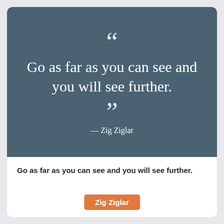[Figure (illustration): Quote card with dark blue-grey background showing open quotation marks, the quote text 'Go as far as you can see and you will see further.' in white serif font, followed by close quotation marks and attribution '— Zig Ziglar' in white.]
Go as far as you can see and you will see further.
Zig Ziglar